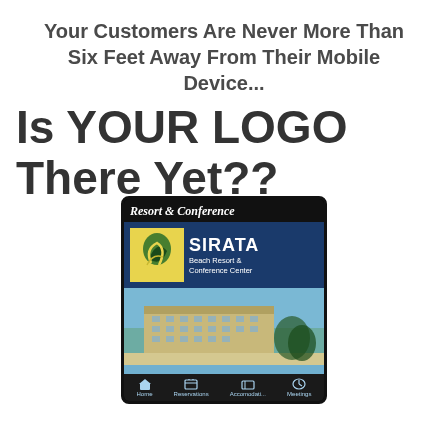Your Customers Are Never More Than Six Feet Away From Their Mobile Device...
Is YOUR LOGO There Yet??
[Figure (screenshot): Screenshot of a mobile app for Sirata Beach Resort & Conference Center, showing the resort logo, hotel photo, and navigation bar with Home, Reservations, Accomodati..., and Meetings tabs.]